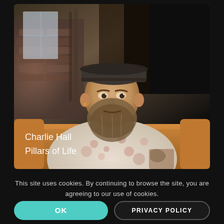[Figure (photo): Portrait photograph of a bearded man with a backward baseball cap, wearing a floral short-sleeve shirt, seated on a tan leather couch in an indoor setting with brick wall in background. Text overlay reads 'Charlie Hall' and 'Pillars of Life'.]
This site uses cookies. By continuing to browse the site, you are agreeing to our use of cookies.
OK
PRIVACY POLICY